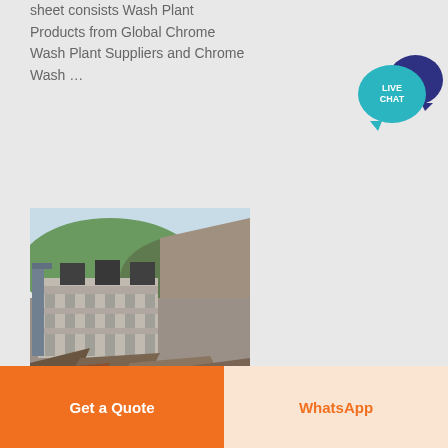sheet consists Wash Plant Products from Global Chrome Wash Plant Suppliers and Chrome Wash …
[Figure (illustration): Live Chat speech bubble icon with teal and navy blue overlapping circles]
[Figure (photo): Industrial wash plant facility with concrete structure, machinery on top, rocky hillside in background, debris in foreground]
Get a Quote
WhatsApp